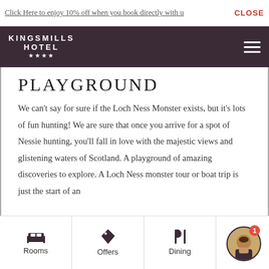Click Here to enjoy 10% off when you book directly with us   CLOSE
[Figure (logo): Kingsmills Hotel logo with four stars on dark purple navigation bar]
PLAYGROUND
We can't say for sure if the Loch Ness Monster exists, but it's lots of fun hunting! We are sure that once you arrive for a spot of Nessie hunting, you'll fall in love with the majestic views and glistening waters of Scotland. A playground of amazing discoveries to explore. A Loch Ness monster tour or boat trip is just the start of an
Rooms   Offers   Dining